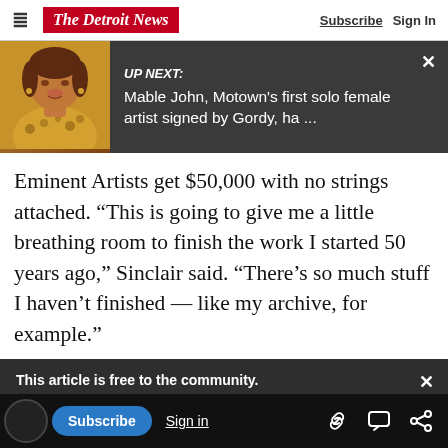The Detroit News | Subscribe  Sign In
[Figure (screenshot): UP NEXT banner with photo of Mable John (woman in leopard print jacket) on dark background. Text reads: UP NEXT: Mable John, Motown's first solo female artist signed by Gordy, ha ...]
Eminent Artists get $50,000 with no strings attached. “This is going to give me a little breathing room to finish the work I started 50 years ago,” Sinclair said. “There’s so much stuff I haven’t finished — like my archive, for example.”
This article is free to the community.
$1 for 6 Months.
Subscribe now
Subscribe  Sign in